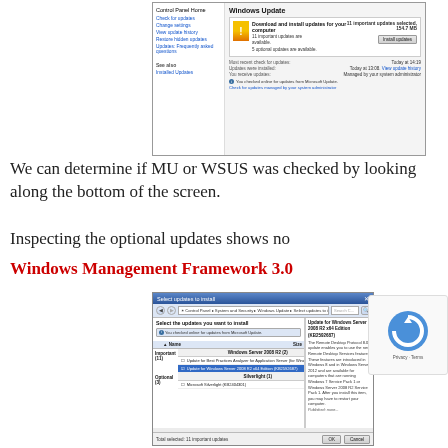[Figure (screenshot): Windows Update control panel showing 11 important updates available and optional updates, with Install updates button]
We can determine if MU or WSUS was checked by looking along the bottom of the screen.
Inspecting the optional updates shows no
Windows Management Framework 3.0
[Figure (screenshot): Select updates to install dialog showing Windows Server 2008 R2 updates including Update for Windows Server 2008 R2 x64 Edition (KB2592687) selected, and Silverlight update listed]